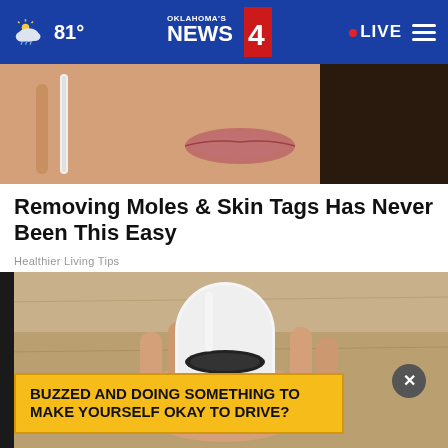81° Oklahoma's News 4 • LIVE
[Figure (photo): Close-up photo of a woman's lower face and lips, holding something near her chin, dark hair visible]
Removing Moles & Skin Tags Has Never Been This Easy
Healthier Living Tips
[Figure (photo): A hand holding a white electronic beauty device against a wooden surface background, with a black circular tip]
BUZZED AND DOING SOMETHING TO MAKE YOURSELF OKAY TO DRIVE?